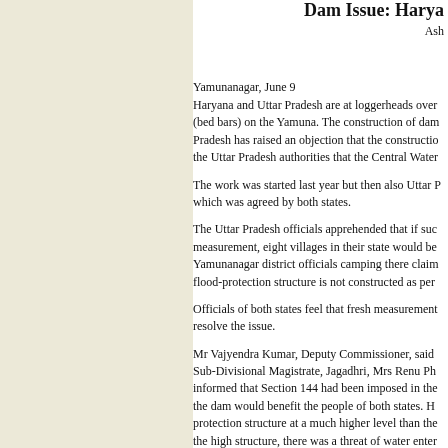Dam Issue: Harya...
Ash...
Yamunanagar, June 9
Haryana and Uttar Pradesh are at loggerheads over (bed bars) on the Yamuna. The construction of dam Pradesh has raised an objection that the constructio the Uttar Pradesh authorities that the Central Water
The work was started last year but then also Uttar P which was agreed by both states.
The Uttar Pradesh officials apprehended that if suc measurement, eight villages in their state would be Yamunanagar district officials camping there claim flood-protection structure is not constructed as per
Officials of both states feel that fresh measurement resolve the issue.
Mr Vajyendra Kumar, Deputy Commissioner, said Sub-Divisional Magistrate, Jagadhri, Mrs Renu Ph informed that Section 144 had been imposed in the the dam would benefit the people of both states. H protection structure at a much higher level than the the high structure, there was a threat of water enter